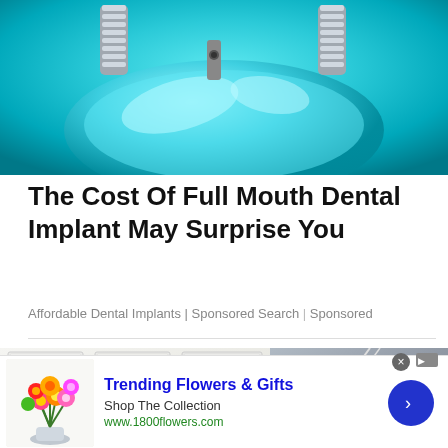[Figure (photo): Close-up photo of a dental implant model in teal/turquoise color with metal screw components]
The Cost Of Full Mouth Dental Implant May Surprise You
Affordable Dental Implants | Sponsored Search | Sponsored
[Figure (photo): Interior home photo showing white built-in wardrobes/cabinets on the left and a hallway with stairs on the right]
[Figure (photo): Advertisement banner: Trending Flowers & Gifts - Shop The Collection - www.1800flowers.com with colorful flower bouquet image]